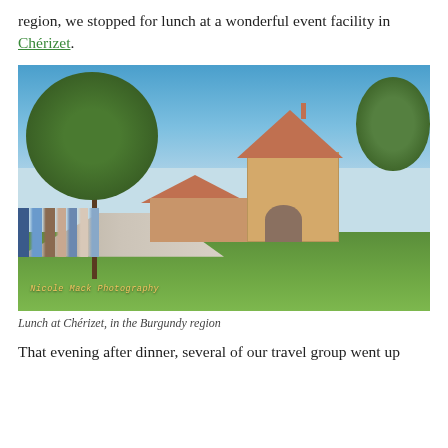region, we stopped for lunch at a wonderful event facility in Chérizet.
[Figure (photo): Outdoor photo of a French country estate/event facility in Chérizet, Burgundy region. A large yellow building with a terracotta pyramid roof dominates the center-right. Trees frame the scene, with a group of tourists walking along a path toward the building on a sunny day. Green lawn in the foreground.]
Lunch at Chérizet, in the Burgundy region
That evening after dinner, several of our travel group went up